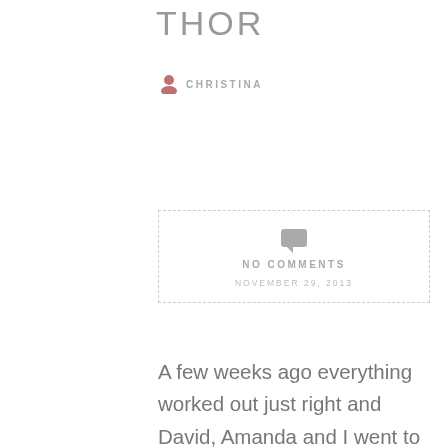THOR
CHRISTINA
NO COMMENTS
NOVEMBER 29, 2013
A few weeks ago everything worked out just right and David, Amanda and I went to the theater to see Thor in 3D. Its worth noting for a few reasons.  The main reasons being that it was our first 3D movie.  The other reasons being that we dont